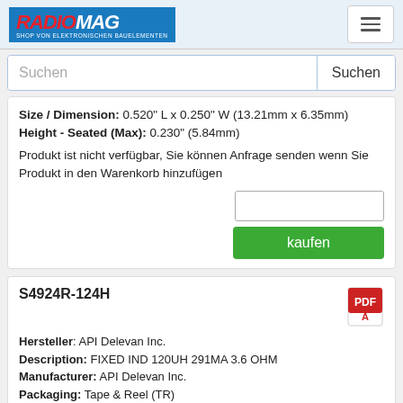RADIOMAG – SHOP VON ELEKTRONISCHEN BAUELEMENTEN
Suchen
Size / Dimension: 0.520" L x 0.250" W (13.21mm x 6.35mm)
Height - Seated (Max): 0.230" (5.84mm)
Produkt ist nicht verfügbar, Sie können Anfrage senden wenn Sie Produkt in den Warenkorb hinzufügen
S4924R-124H
Hersteller: API Delevan Inc.
Description: FIXED IND 120UH 291MA 3.6 OHM
Manufacturer: API Delevan Inc.
Packaging: Tape & Reel (TR)
Part Status: Active
Material - Core: Ferrite
Inductance: 120µH
Tolerance: ±3%
Current Rating (Amps): 291mA
Current - Saturation (Isat): 98mA
Shielding: Shielded
DC Resistance (DCR): 3.6 Ohm